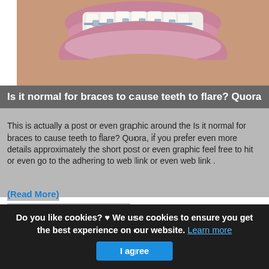[Figure (photo): Close-up photo of a person's mouth showing teeth with dental braces, lips visible with pink lipstick]
Is it normal for braces to cause teeth to flare? Quora
This is actually a post or even graphic around the Is it normal for braces to cause teeth to flare? Quora, if you prefer even more details approximately the short post or even graphic feel free to hit or even go to the adhering to web link or even web link .
(Read More)
Source: www.quora.com Visit Web
Do you like cookies? ♥ We use cookies to ensure you get the best experience on our website. Learn more
I agree